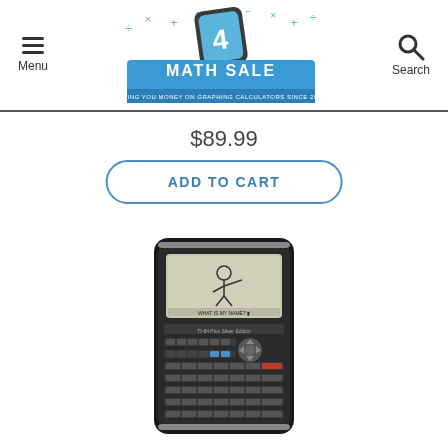[Figure (logo): Math 4 Sale logo - calculator icon with math symbols, blue banner reading MATH 4 SALE, tagline SAVING YOU MONEY ON GRAPHING CALCULATORS SINCE 2005!]
Menu
Search
$89.99
ADD TO CART
[Figure (photo): Texas Instruments graphing calculator (TI-84 Plus) in black with a cartoon character displayed on the screen]